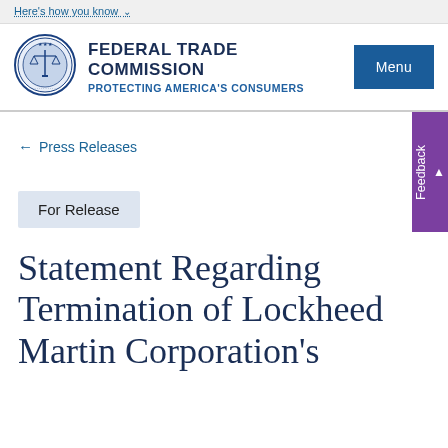Here's how you know
[Figure (logo): Federal Trade Commission seal — circular blue seal with scales of justice]
FEDERAL TRADE COMMISSION
PROTECTING AMERICA'S CONSUMERS
← Press Releases
For Release
Statement Regarding Termination of Lockheed Martin Corporation's